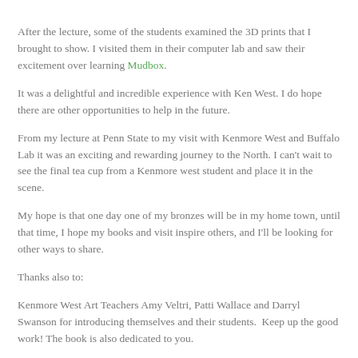After the lecture, some of the students examined the 3D prints that I brought to show. I visited them in their computer lab and saw their excitement over learning Mudbox.
It was a delightful and incredible experience with Ken West. I do hope there are other opportunities to help in the future.
From my lecture at Penn State to my visit with Kenmore West and Buffalo Lab it was an exciting and rewarding journey to the North. I can't wait to see the final tea cup from a Kenmore west student and place it in the scene.
My hope is that one day one of my bronzes will be in my home town, until that time, I hope my books and visit inspire others, and I'll be looking for other ways to share.
Thanks also to:
Kenmore West Art Teachers Amy Veltri, Patti Wallace and Darryl Swanson for introducing themselves and their students.  Keep up the good work! The book is also dedicated to you.